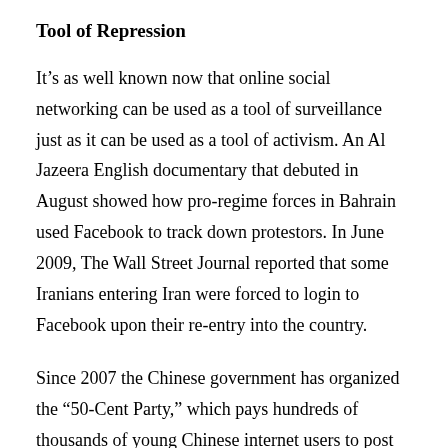Tool of Repression
It’s as well known now that online social networking can be used as a tool of surveillance just as it can be used as a tool of activism. An Al Jazeera English documentary that debuted in August showed how pro-regime forces in Bahrain used Facebook to track down protestors. In June 2009, The Wall Street Journal reported that some Iranians entering Iran were forced to login to Facebook upon their re-entry into the country.
Since 2007 the Chinese government has organized the “50-Cent Party,” which pays hundreds of thousands of young Chinese internet users to post pro-China comments on message boards. The Kremlin has orchestrated cyber attacks against perceived “enemies,” including Estonia. In Iran, for all the talk of a Twitter Revolution, in June 2009 the office of Supreme Leader Ayatollah Ali Khamenei joined Twitter, posting daily in Persian and English.